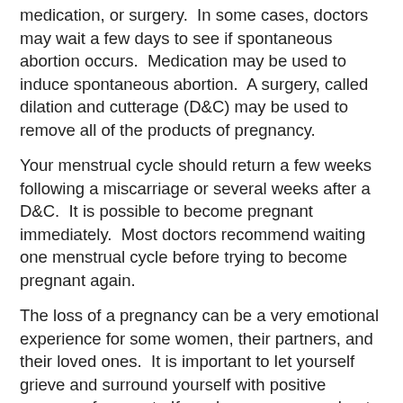medication, or surgery.  In some cases, doctors may wait a few days to see if spontaneous abortion occurs.  Medication may be used to induce spontaneous abortion.  A surgery, called dilation and cutterage (D&C) may be used to remove all of the products of pregnancy.
Your menstrual cycle should return a few weeks following a miscarriage or several weeks after a D&C.  It is possible to become pregnant immediately.  Most doctors recommend waiting one menstrual cycle before trying to become pregnant again.
The loss of a pregnancy can be a very emotional experience for some women, their partners, and their loved ones.  It is important to let yourself grieve and surround yourself with positive sources of support.  If you have concerns about depression, discuss them with your doctor.  Your doctor can refer you to appropriate resources for assistance and support.
Back to Top